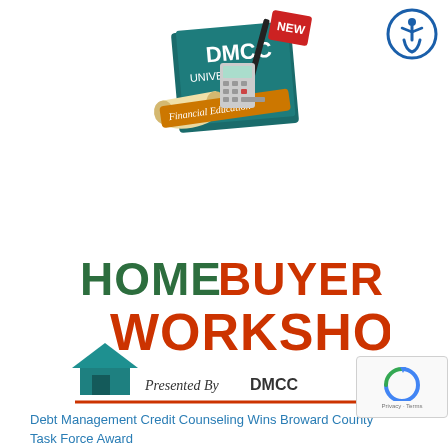[Figure (logo): DMCC University Financial Education logo with pen, calculator, diploma scroll, and teal book with 'NEW' ribbon badge]
[Figure (logo): Accessibility icon - blue circle with white wheelchair accessibility symbol]
[Figure (logo): Home Buyer Workshop Presented By DMCC logo - green HOME BUYER text, red WORKSHOP text, teal house icon, decorative red underline]
Debt Management Credit Counseling Wins Broward County Task Force Award
[Figure (logo): reCAPTCHA badge with circular arrow icon and Privacy - Terms text]